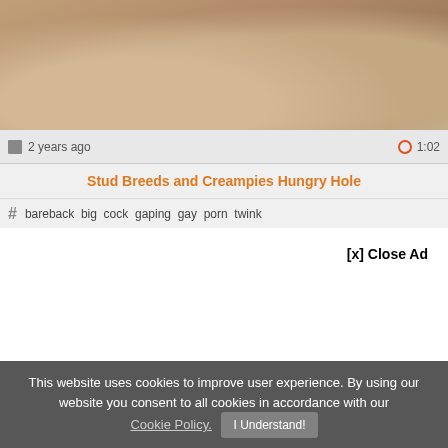[Figure (screenshot): Video thumbnail showing skin-toned image, top portion of page]
2 years ago   1:02
Stud Breeds and Creampies Hungry Hole
# bareback  big  cock  gaping  gay  porn  twink
[Figure (screenshot): Video player or ad image below, with [x] Close Ad button]
[x] Close Ad
This website uses cookies to improve user experience. By using our website you consent to all cookies in accordance with our Cookie Policy.  I Understand!